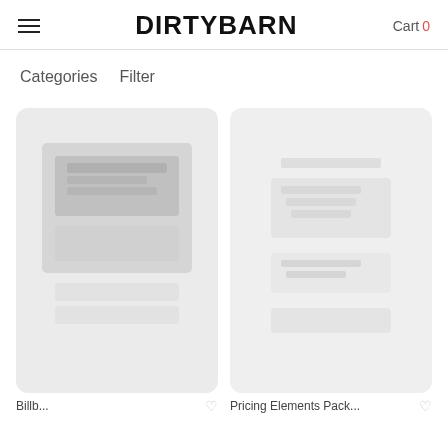DIRTYBARN  Cart 0
Categories   Filter
[Figure (photo): Product card showing a billboard mockup design on light gray background with rounded corners]
[Figure (photo): Product card showing design elements on light gray background with rounded corners]
Billb...
Pricing Elements Pack...